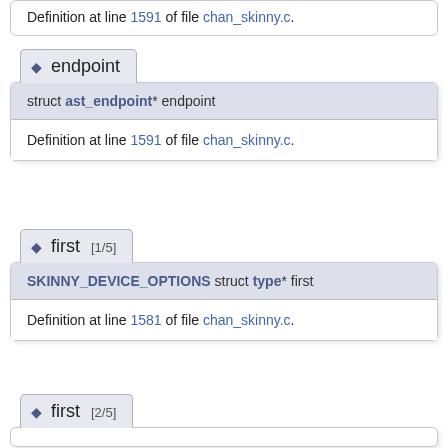Definition at line 1591 of file chan_skinny.c.
◆ endpoint
struct ast_endpoint* endpoint
Definition at line 1591 of file chan_skinny.c.
◆ first [1/5]
SKINNY_DEVICE_OPTIONS struct type* first
Definition at line 1581 of file chan_skinny.c.
◆ first [2/5]